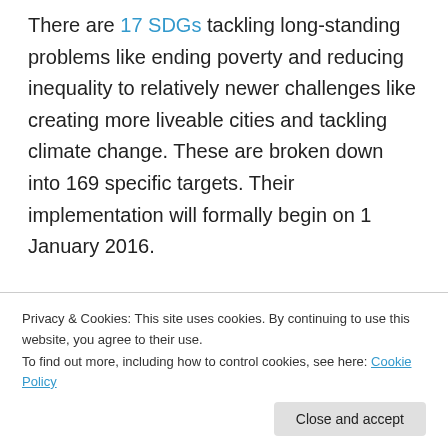There are 17 SDGs tackling long-standing problems like ending poverty and reducing inequality to relatively newer challenges like creating more liveable cities and tackling climate change. These are broken down into 169 specific targets. Their implementation will formally begin on 1 January 2016.
[Figure (infographic): UN Sustainable Development Goals banner showing the logo with 'SUSTAINABLE DEVELOPMENT GOALS' text and the first 6 SDG colored icon tiles: 1 No Poverty (red), 2 Zero Hunger (gold), 3 Good Health and Well-Being (green), 4 Quality Education (red-orange), 5 Gender Equality (red), 6 Clean Water and Sanitation (light blue)]
Privacy & Cookies: This site uses cookies. By continuing to use this website, you agree to their use.
To find out more, including how to control cookies, see here: Cookie Policy